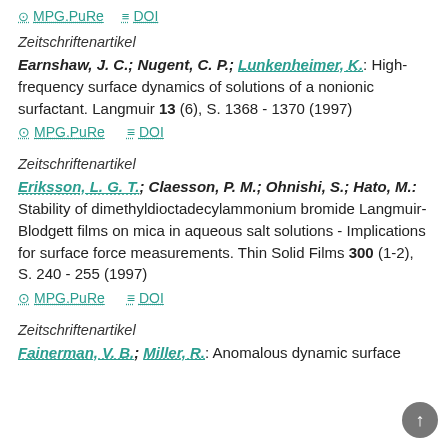MPG.PuRe   DOI
Zeitschriftenartikel
Earnshaw, J. C.; Nugent, C. P.; Lunkenheimer, K.: High-frequency surface dynamics of solutions of a nonionic surfactant. Langmuir 13 (6), S. 1368 - 1370 (1997)
MPG.PuRe   DOI
Zeitschriftenartikel
Eriksson, L. G. T.; Claesson, P. M.; Ohnishi, S.; Hato, M.: Stability of dimethyldioctadecylammonium bromide Langmuir-Blodgett films on mica in aqueous salt solutions - Implications for surface force measurements. Thin Solid Films 300 (1-2), S. 240 - 255 (1997)
MPG.PuRe   DOI
Zeitschriftenartikel
Fainerman, V. B.; Miller, R.: Anomalous dynamic surface